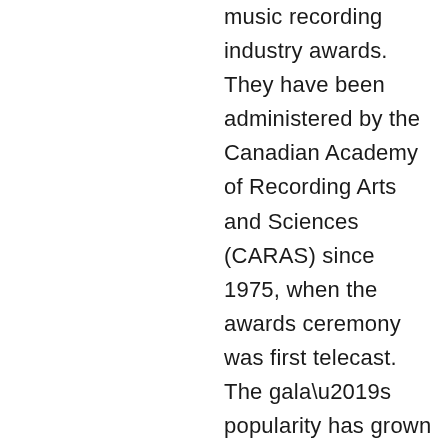music recording industry awards. They have been administered by the Canadian Academy of Recording Arts and Sciences (CARAS) since 1975, when the awards ceremony was first telecast. The gala's popularity has grown significantly since 1995, when it was transformed from an industry function into a public event at an arena concert venue. In the early 2000s, the “Juno Week” ceremony was expanded to include public entertainment